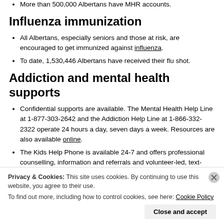More than 500,000 Albertans have MHR accounts.
Influenza immunization
All Albertans, especially seniors and those at risk, are encouraged to get immunized against influenza.
To date, 1,530,446 Albertans have received their flu shot.
Addiction and mental health supports
Confidential supports are available. The Mental Health Help Line at 1-877-303-2642 and the Addiction Help Line at 1-866-332-2322 operate 24 hours a day, seven days a week. Resources are also available online.
The Kids Help Phone is available 24-7 and offers professional counselling, information and referrals and volunteer-led, text-based support to young people by texting CONNECT to 686868.
Privacy & Cookies: This site uses cookies. By continuing to use this website, you agree to their use. To find out more, including how to control cookies, see here: Cookie Policy